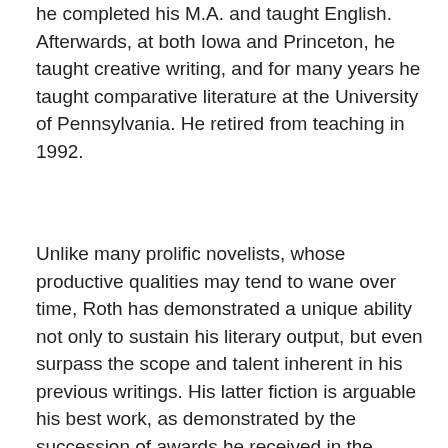he completed his M.A. and taught English. Afterwards, at both Iowa and Princeton, he taught creative writing, and for many years he taught comparative literature at the University of Pennsylvania. He retired from teaching in 1992.
Unlike many prolific novelists, whose productive qualities may tend to wane over time, Roth has demonstrated a unique ability not only to sustain his literary output, but even surpass the scope and talent inherent in his previous writings. His latter fiction is arguable his best work, as demonstrated by the succession of awards he received in the 1990's (and a Nobel Prize in Literature a very likely possibility). He has lived in Rome, London, Chicago, and New York. He